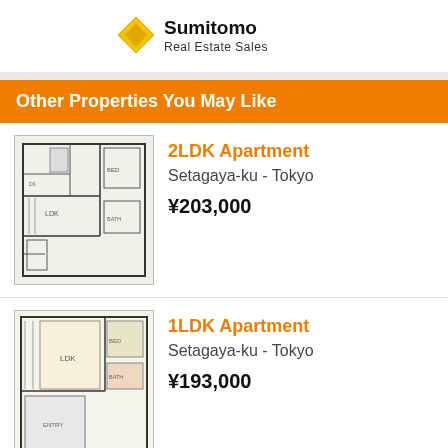[Figure (logo): Sumitomo Real Estate Sales logo with yellow diamond shape and company name]
Other Properties You May Like
[Figure (engineering-diagram): 2LDK apartment floor plan schematic]
2LDK Apartment
Setagaya-ku - Tokyo
¥203,000
[Figure (engineering-diagram): 1LDK apartment floor plan schematic]
1LDK Apartment
Setagaya-ku - Tokyo
¥193,000
[Figure (photo): Hinatao Energy advertisement showing couple with laptop and energy brand imagery]
ARE YOU MOVING INTO A NEW APARTMENT?
Get electricity & gas service set up all in English with Hinatao Energy